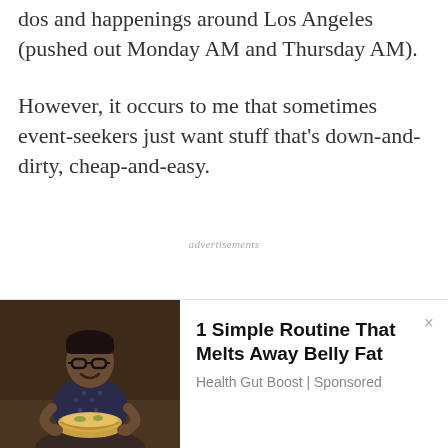dos and happenings around Los Angeles (pushed out Monday AM and Thursday AM).
However, it occurs to me that sometimes event-seekers just want stuff that's down-and-dirty, cheap-and-easy.
advertisements
[Figure (photo): Advertisement banner with a person holding a bowl, promoting a health product]
1 Simple Routine That Melts Away Belly Fat
Health Gut Boost | Sponsored